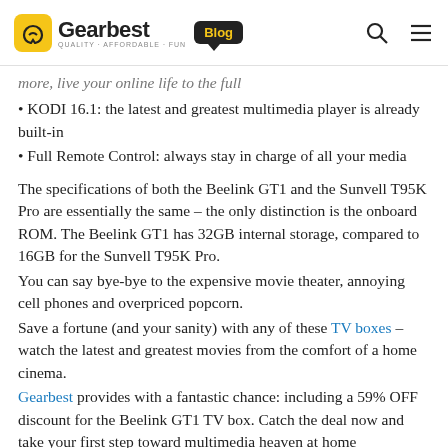Gearbest Blog
more, live your online life to the full
KODI 16.1: the latest and greatest multimedia player is already built-in
Full Remote Control: always stay in charge of all your media
The specifications of both the Beelink GT1 and the Sunvell T95K Pro are essentially the same – the only distinction is the onboard ROM. The Beelink GT1 has 32GB internal storage, compared to 16GB for the Sunvell T95K Pro.
You can say bye-bye to the expensive movie theater, annoying cell phones and overpriced popcorn.
Save a fortune (and your sanity) with any of these TV boxes – watch the latest and greatest movies from the comfort of a home cinema.
Gearbest provides with a fantastic chance: including a 59% OFF discount for the Beelink GT1 TV box. Catch the deal now and take your first step toward multimedia heaven at home